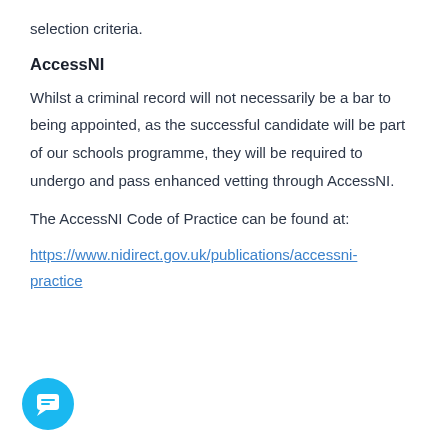selection criteria.
AccessNI
Whilst a criminal record will not necessarily be a bar to being appointed, as the successful candidate will be part of our schools programme, they will be required to undergo and pass enhanced vetting through AccessNI.
The AccessNI Code of Practice can be found at:
https://www.nidirect.gov.uk/publications/accessni-code-of-practice